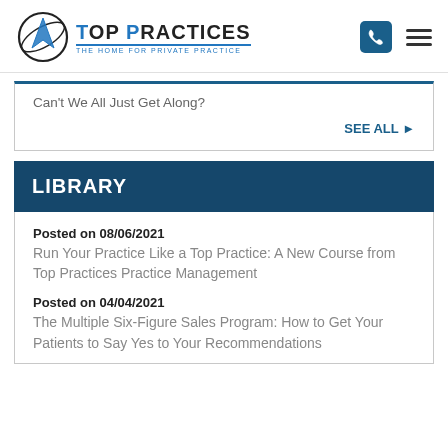Top Practices - The Home for Private Practice
Can't We All Just Get Along?
SEE ALL
LIBRARY
Posted on 08/06/2021
Run Your Practice Like a Top Practice: A New Course from Top Practices Practice Management
Posted on 04/04/2021
The Multiple Six-Figure Sales Program: How to Get Your Patients to Say Yes to Your Recommendations